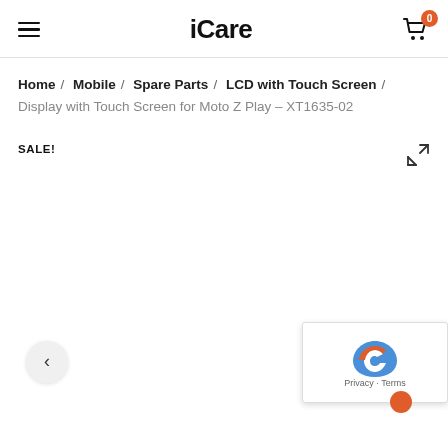iCare
Home / Mobile / Spare Parts / LCD with Touch Screen / Display with Touch Screen for Moto Z Play – XT1635-02
SALE!
[Figure (screenshot): Product image area for LCD display with expand icon and navigation arrows. reCAPTCHA widget visible in bottom-right corner.]